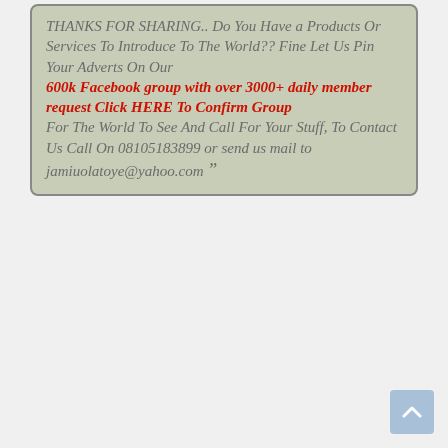THANKS FOR SHARING.. Do You Have a Products Or Services To Introduce To The World?? Fine Let Us Pin Your Adverts On Our 600k Facebook group with over 3000+ daily member request Click HERE To Confirm Group For The World To See And Call For Your Stuff, To Contact Us Call On 08105183899 or send us mail to jamiuolatoye@yahoo.com ””
[Figure (other): Scroll-to-top button in light blue, bottom right corner]